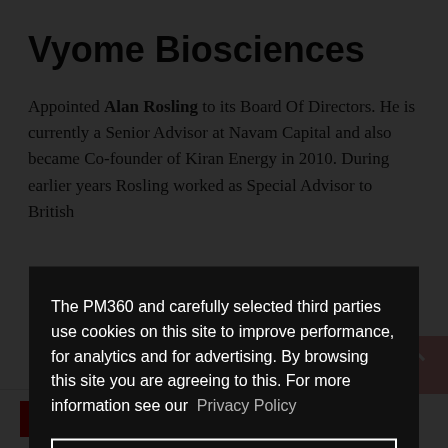Vyome Biosciences
Appointed Alan Rosling to its Board Of Directors. He is currently a Senior Advisor at Navam Capital and also became Co-founder of Kiran Energy in 2010. During earlier years Rosling worked as Special Advisor to British [text partially obscured] of the
The PM360 and carefully selected third parties use cookies on this site to improve performance, for analytics and for advertising. By browsing this site you are agreeing to this. For more information see our Privacy Policy
Close
PM360 Staff